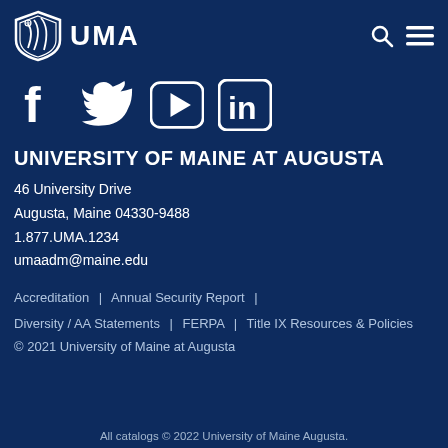[Figure (logo): UMA shield logo with text UMA, search icon and hamburger menu icon in header]
[Figure (illustration): Social media icons: Facebook, Twitter, YouTube, LinkedIn]
UNIVERSITY OF MAINE AT AUGUSTA
46 University Drive
Augusta, Maine 04330-9488
1.877.UMA.1234
umaadm@maine.edu
Accreditation | Annual Security Report |
Diversity / AA Statements | FERPA | Title IX Resources & Policies
© 2021 University of Maine at Augusta
All catalogs © 2022 University of Maine Augusta.